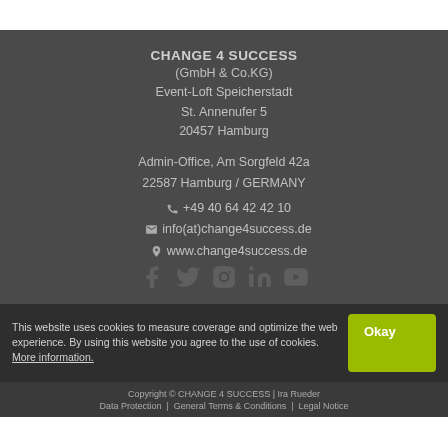CHANGE 4 SUCCESS
(GmbH & Co.KG)
Event-Loft Speicherstadt
St. Annenufer 5
20457 Hamburg
Admin-Office, Am Sorgfeld 42a
22587 Hamburg / GERMANY
+49 40 64 42 42 10
info(at)change4success.de
www.change4success.de
This website uses cookies to measure coverage and optimize the web experience. By using this website you agree to the use of cookies. More information.
Copyright © CHANGE 4 SUCCESS | Ira Rueder
Data Protection | General Terms & Conditions | Legal Notice